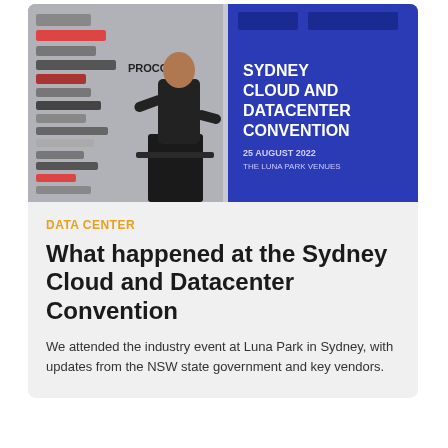[Figure (photo): A man in a dark suit presenting at a podium in front of a blue banner reading 'Sydney Cloud and Datacenter Convention, 25 August 2022, The Luna Park Venues', with sponsor logos on a wall behind him.]
DATA CENTER
What happened at the Sydney Cloud and Datacenter Convention
We attended the industry event at Luna Park in Sydney, with updates from the NSW state government and key vendors.